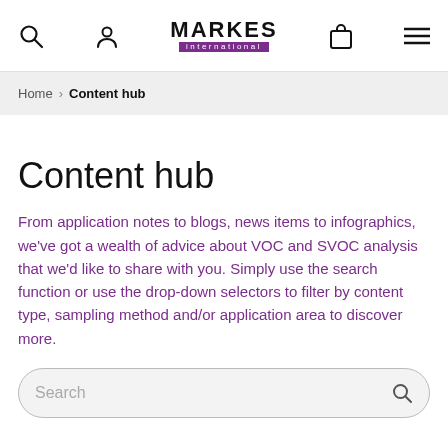MARKES International navigation bar with search, user, cart, and menu icons
Home > Content hub
Content hub
From application notes to blogs, news items to infographics, we've got a wealth of advice about VOC and SVOC analysis that we'd like to share with you. Simply use the search function or use the drop-down selectors to filter by content type, sampling method and/or application area to discover more.
Search